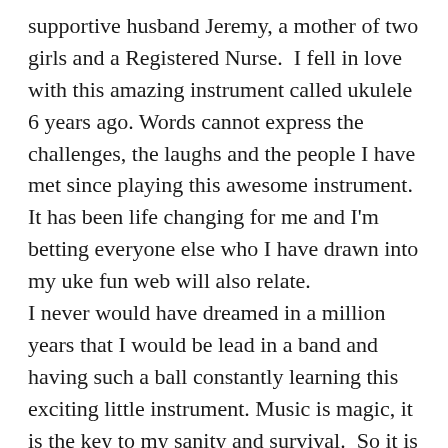supportive husband Jeremy, a mother of two girls and a Registered Nurse.  I fell in love with this amazing instrument called ukulele 6 years ago. Words cannot express the challenges, the laughs and the people I have met since playing this awesome instrument. It has been life changing for me and I'm betting everyone else who I have drawn into my uke fun web will also relate. I never would have dreamed in a million years that I would be lead in a band and having such a ball constantly learning this exciting little instrument. Music is magic, it is the key to my sanity and survival.  So it is because of my love for ukulele and my majestic picturesque home of Te Anau that I have decided to gather like minded people together to bring our town alive with the inaugural Te Anau Ukulele Festival - TUF22. It is my dream for everyone to come and enjoy all that Te Anau has to offer. So we have